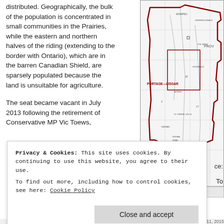...distributed. Geographically, the bulk of the population is concentrated in small communities in the Prairies, while the eastern and northern halves of the riding (extending to the border with Ontario), which are in the barren Canadian Shield, are sparsely populated because the land is unsuitable for agriculture.
[Figure (map): Electoral map showing Portage-Lisgar riding in Manitoba, Canada, with red boundary lines marking the riding, showing neighboring ridings including PROVENCHER, and the United States of America border to the south. Scale bar showing 0, 10, 20 km.]
The seat became vacant in July 2013 following the retirement of Conservative MP Vic Toews,
Privacy & Cookies: This site uses cookies. By continuing to use this website, you agree to their use.
To find out more, including how to control cookies, see here: Cookie Policy
Close and accept